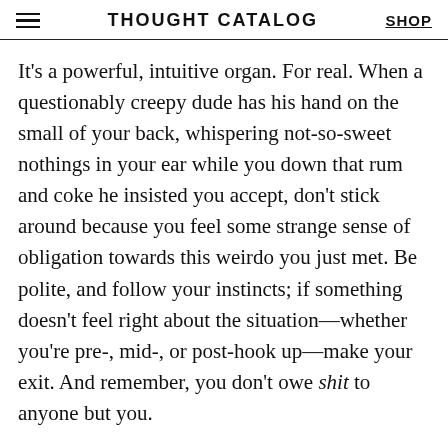THOUGHT CATALOG  SHOP
It’s a powerful, intuitive organ. For real. When a questionably creepy dude has his hand on the small of your back, whispering not-so-sweet nothings in your ear while you down that rum and coke he insisted you accept, don’t stick around because you feel some strange sense of obligation towards this weirdo you just met. Be polite, and follow your instincts; if something doesn’t feel right about the situation—whether you’re pre-, mid-, or post-hook up—make your exit. And remember, you don’t owe shit to anyone but you.